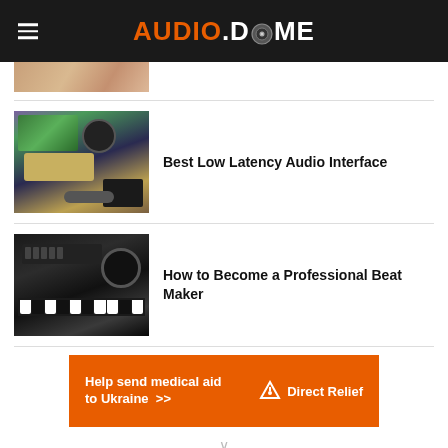AUDIO.DOME
[Figure (photo): Partially visible cropped photo at top of page, skin tones visible]
[Figure (photo): Audio interface with tablet showing music software, headphones and equipment on a desk]
Best Low Latency Audio Interface
[Figure (photo): Close-up of a synthesizer keyboard with knobs and headphones in dark lighting]
How to Become a Professional Beat Maker
[Figure (infographic): Orange advertisement banner: Help send medical aid to Ukraine >> Direct Relief logo]